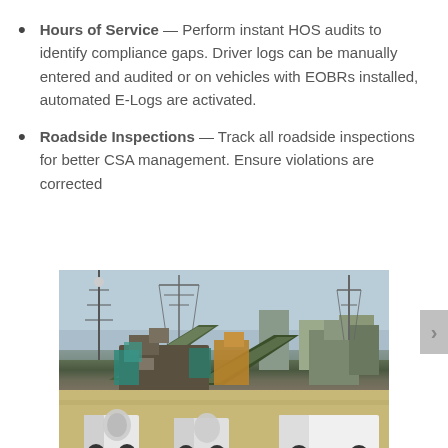Hours of Service — Perform instant HOS audits to identify compliance gaps. Driver logs can be manually entered and audited or on vehicles with EOBRs installed, automated E-Logs are activated.
Roadside Inspections — Track all roadside inspections for better CSA management. Ensure violations are corrected
[Figure (photo): Industrial facility or construction/mining site with heavy machinery, conveyor belts, towers, and concrete mixer trucks in the foreground under a blue-grey sky.]